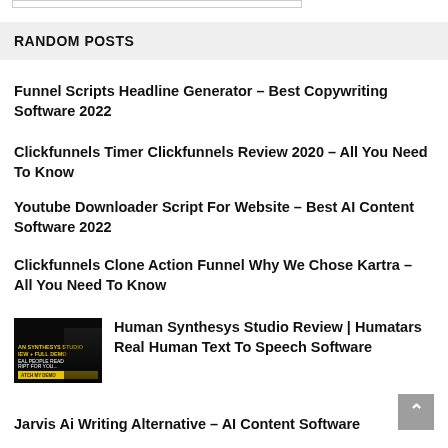RANDOM POSTS
Funnel Scripts Headline Generator – Best Copywriting Software 2022
Clickfunnels Timer Clickfunnels Review 2020 – All You Need To Know
Youtube Downloader Script For Website – Best AI Content Software 2022
Clickfunnels Clone Action Funnel Why We Chose Kartra – All You Need To Know
[Figure (screenshot): Thumbnail image for Human Synthesys Studio Review video showing text AN SYNTHESYS STUDIO REVIEW + FULL DEMO, REAL PEOPLE READ SCRIPT FOR YOU..., WATCH MY DEMO on dark background]
Human Synthesys Studio Review | Humatars Real Human Text To Speech Software
Jarvis Ai Writing Alternative – AI Content Software